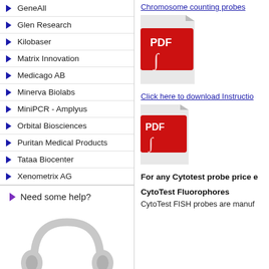GeneAll
Glen Research
Kilobaser
Matrix Innovation
Medicago AB
Minerva Biolabs
MiniPCR - Amplyus
Orbital Biosciences
Puritan Medical Products
Tataa Biocenter
Xenometrix AG
Need some help?
[Figure (illustration): Gray headset/headphones support icon]
Chromosome counting probes
[Figure (illustration): PDF file icon (red) for Chromosome counting probes]
Click here to download Instructions
[Figure (illustration): PDF file icon (red) for Instructions download]
For any Cytotest probe price e
CytoTest Fluorophores
CytoTest FISH probes are manuf